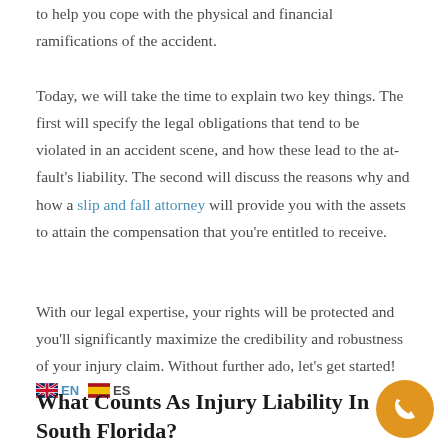to help you cope with the physical and financial ramifications of the accident.
Today, we will take the time to explain two key things. The first will specify the legal obligations that tend to be violated in an accident scene, and how these lead to the at-fault's liability. The second will discuss the reasons why and how a slip and fall attorney will provide you with the assets to attain the compensation that you're entitled to receive.
With our legal expertise, your rights will be protected and you'll significantly maximize the credibility and robustness of your injury claim. Without further ado, let's get started!
What Counts As Injury Liability In South Florida?